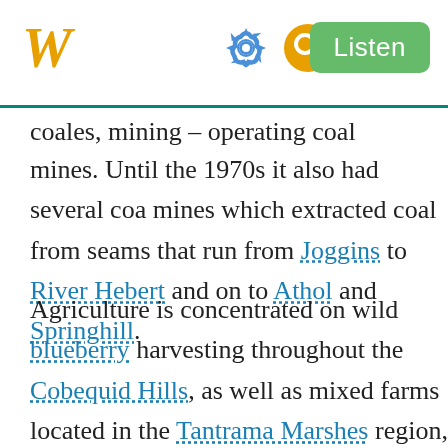W [Wikipedia logo] [gear icon] [search icon] Listen
coales, mining – operating coal mines. Until the 1970s it also had several coal mines which extracted coal from seams that run from Joggins to River Hebert and on to Athol and Springhill. Agriculture is concentrated on wild blueberry harvesting throughout the Cobequid Hills, as well as mixed farms located in the Tantramar Marshes region, the Northumberland Strait coastal plain, and the Wentworth Valley.